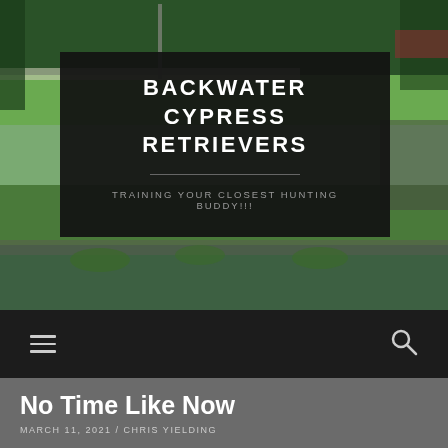[Figure (photo): Outdoor scene showing trees, grass, a driveway/road, and a water feature or pond in the foreground. Dark overlay banner with website title and tagline sits on top of the photo.]
BACKWATER CYPRESS RETRIEVERS
TRAINING YOUR CLOSEST HUNTING BUDDY!!!
Navigation bar with hamburger menu and search icon
No Time Like Now
MARCH 11, 2021 / CHRIS YIELDING